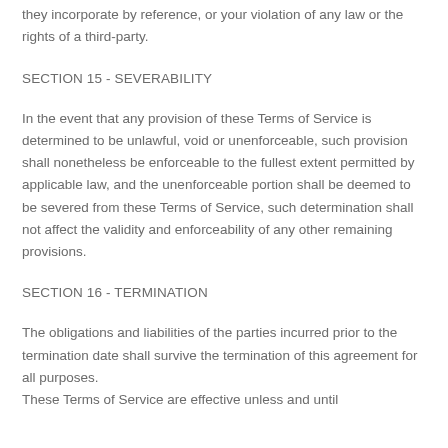they incorporate by reference, or your violation of any law or the rights of a third-party.
SECTION 15 - SEVERABILITY
In the event that any provision of these Terms of Service is determined to be unlawful, void or unenforceable, such provision shall nonetheless be enforceable to the fullest extent permitted by applicable law, and the unenforceable portion shall be deemed to be severed from these Terms of Service, such determination shall not affect the validity and enforceability of any other remaining provisions.
SECTION 16 - TERMINATION
The obligations and liabilities of the parties incurred prior to the termination date shall survive the termination of this agreement for all purposes.
These Terms of Service are effective unless and until